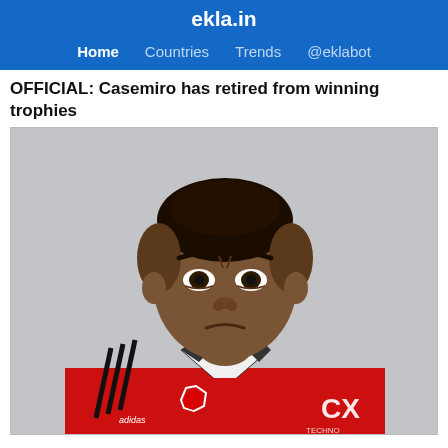ekla.in — Home | Countries | Trends | @eklabot
OFFICIAL: Casemiro has retired from winning trophies
[Figure (photo): Casemiro in a Manchester United red jersey with Adidas branding and CX sponsorship logo, posed in a promotional photo shoot against a grey background, making an intense/frowning expression.]